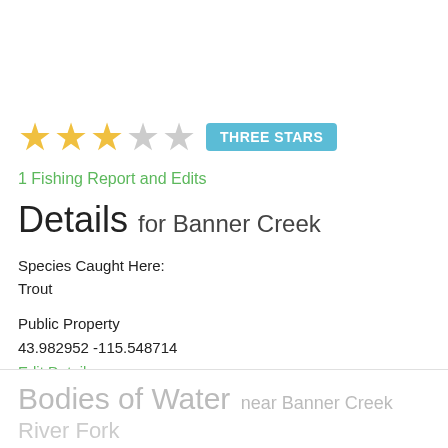[Figure (infographic): Star rating showing 3 out of 5 stars (3 filled yellow stars and 2 empty grey stars) with a teal 'THREE STARS' badge]
1 Fishing Report and Edits
Details for Banner Creek
Species Caught Here:
Trout
Public Property
43.982952 -115.548714
Edit Details
Bodies of Water near Banner Creek
River Fork